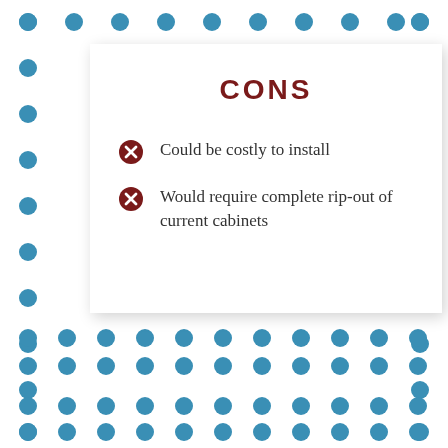CONS
Could be costly to install
Would require complete rip-out of current cabinets